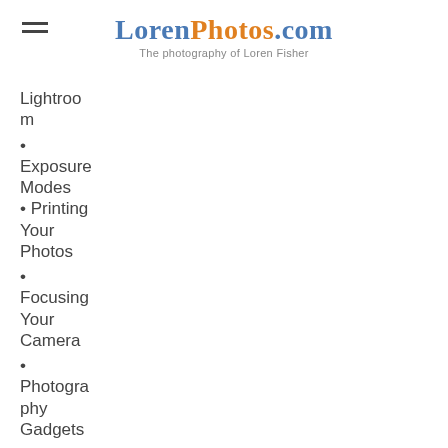LorenPhotos.com — The photography of Loren Fisher
Lightroom
Exposure Modes
Printing Your Photos
Focusing Your Camera
Photography Gadgets
Chimping, Blinkies and Histograms
Let's Talk Filters